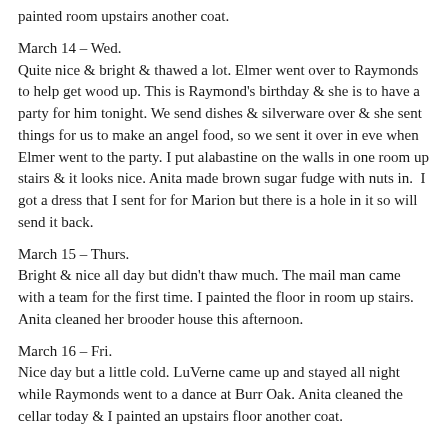painted room upstairs another coat.
March 14 – Wed.
Quite nice & bright & thawed a lot. Elmer went over to Raymonds to help get wood up. This is Raymond's birthday & she is to have a party for him tonight. We send dishes & silverware over & she sent things for us to make an angel food, so we sent it over in eve when Elmer went to the party. I put alabastine on the walls in one room up stairs & it looks nice. Anita made brown sugar fudge with nuts in.  I got a dress that I sent for for Marion but there is a hole in it so will send it back.
March 15 – Thurs.
Bright & nice all day but didn't thaw much. The mail man came with a team for the first time. I painted the floor in room up stairs. Anita cleaned her brooder house this afternoon.
March 16 – Fri.
Nice day but a little cold. LuVerne came up and stayed all night while Raymonds went to a dance at Burr Oak. Anita cleaned the cellar today & I painted an upstairs floor another coat.